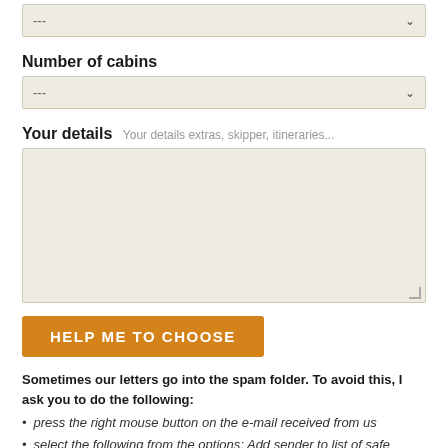---
Number of cabins
---
Your details  Your details extras, skipper, itineraries...
(textarea)
HELP ME TO CHOOSE
Sometimes our letters go into the spam folder. To avoid this, I ask you to do the following:
press the right mouse button on the e-mail received from us
select the following from the options: Add sender to list of safe senders.
* mandatory fields
More information on our privacy policy and personal data